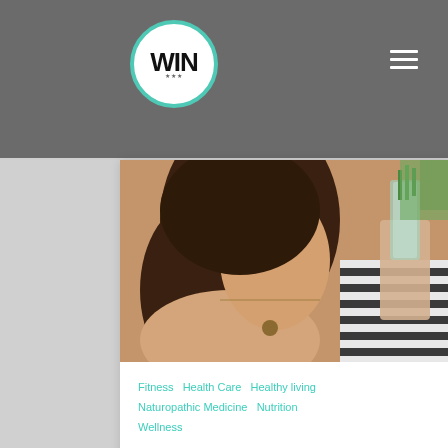[Figure (logo): WIN logo in white circle with teal border]
[Figure (photo): Woman holding a glass of water with greenery visible, close-up portrait]
Fitness  Health Care  Healthy living  Naturopathic Medicine  Nutrition  Wellness
Hydration: Flushing Out The Filtered Water Options
To hydrate with filtered water or not? Which option is best? Many people wonder if...